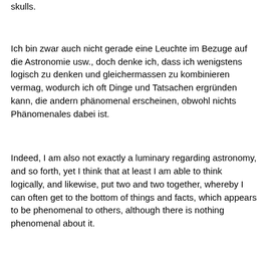skulls.
Ich bin zwar auch nicht gerade eine Leuchte im Bezuge auf die Astronomie usw., doch denke ich, dass ich wenigstens logisch zu denken und gleichermassen zu kombinieren vermag, wodurch ich oft Dinge und Tatsachen ergründen kann, die andern phänomenal erscheinen, obwohl nichts Phänomenales dabei ist.
Indeed, I am also not exactly a luminary regarding astronomy, and so forth, yet I think that at least I am able to think logically, and likewise, put two and two together, whereby I can often get to the bottom of things and facts, which appears to be phenomenal to others, although there is nothing phenomenal about it.